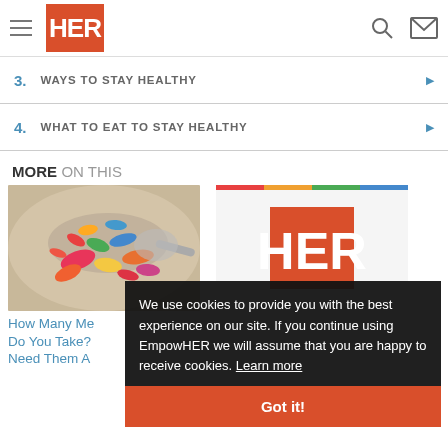HER - header navigation with hamburger menu, search and mail icons
3. WAYS TO STAY HEALTHY
4. WHAT TO EAT TO STAY HEALTHY
MORE ON THIS
[Figure (photo): Colorful pills and capsules on a spoon]
How Many Me Do You Take? Need Them A
[Figure (logo): HER logo on white background]
We use cookies to provide you with the best experience on our site. If you continue using EmpowHER we will assume that you are happy to receive cookies. Learn more
Got it!